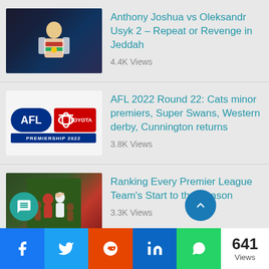[Figure (photo): Anthony Joshua holding boxing championship belts in a white robe]
Anthony Joshua vs Oleksandr Usyk 2 – Repeat or Revenge in Jeddah
4.4K Views
[Figure (logo): AFL Toyota Premiership 2022 official logo]
AFL 2022 Round 22: Cats minor premiers, Super Swans, Western derby, Cunnington returns
3.8K Views
[Figure (photo): Soccer manager and players on pitch, looking concerned]
Ranking Every Premier League Team's Start to the Season
3.3K Views
641 Views